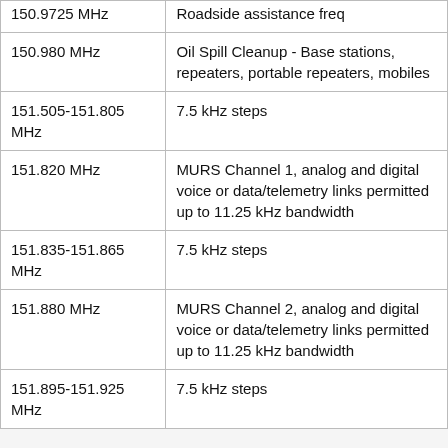| Frequency | Description |
| --- | --- |
| 150.9725 MHz | Roadside assistance freq |
| 150.980 MHz | Oil Spill Cleanup - Base stations, repeaters, portable repeaters, mobiles |
| 151.505-151.805 MHz | 7.5 kHz steps |
| 151.820 MHz | MURS Channel 1, analog and digital voice or data/telemetry links permitted up to 11.25 kHz bandwidth |
| 151.835-151.865 MHz | 7.5 kHz steps |
| 151.880 MHz | MURS Channel 2, analog and digital voice or data/telemetry links permitted up to 11.25 kHz bandwidth |
| 151.895-151.925 MHz | 7.5 kHz steps |